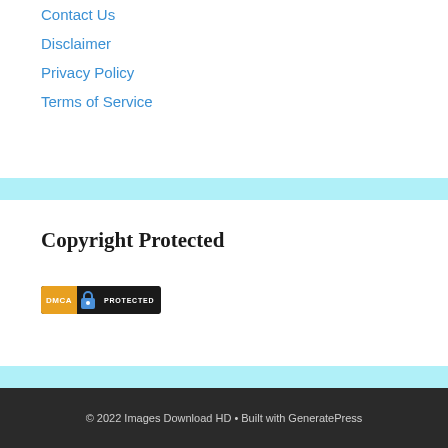Contact Us
Disclaimer
Privacy Policy
Terms of Service
Copyright Protected
[Figure (logo): DMCA Protected badge with orange DMCA label, lock icon, and white PROTECTED text on dark background]
© 2022 Images Download HD • Built with GeneratePress